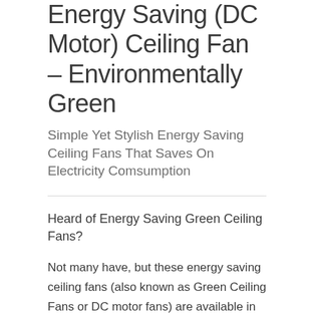Energy Saving (DC Motor) Ceiling Fan – Environmentally Green
Simple Yet Stylish Energy Saving Ceiling Fans That Saves On Electricity Comsumption
Heard of Energy Saving Green Ceiling Fans?
Not many have, but these energy saving ceiling fans (also known as Green Ceiling Fans or DC motor fans) are available in Singapore and run at about half the energy consumption rate of your